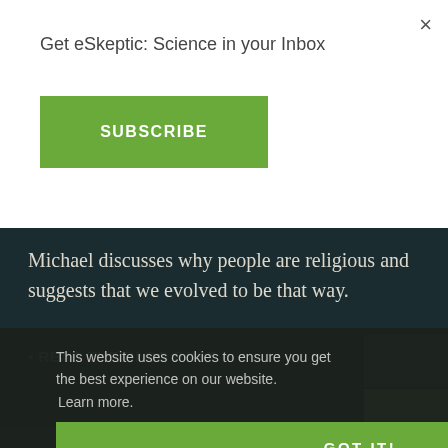Get eSkeptic: Science in your Inbox
×
SUBSCRIBE
Michael discusses why people are religious and suggests that we evolved to be that way.
• READ THE BLOG POST •
[Figure (other): Right-side image strips showing dark teal, green, and light green blocks]
This website uses cookies to ensure you get the best experience on our website.
Learn more.
GOT IT!
SKEPTIC